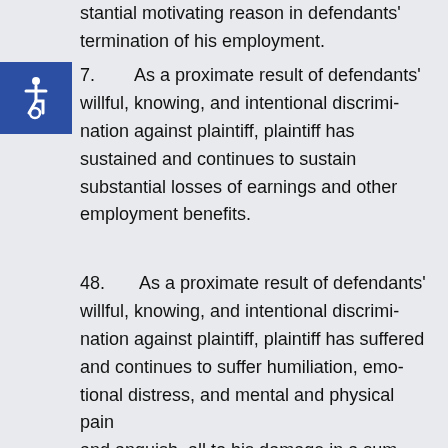stantial motivating reason in defendants' termination of his employment.
[Figure (illustration): Accessibility icon — white wheelchair symbol on blue background square]
47.      As a proximate result of defendants' willful, knowing, and intentional discrimination against plaintiff, plaintiff has sustained and continues to sustain substantial losses of earnings and other employment benefits.
48.      As a proximate result of defendants' willful, knowing, and intentional discrimination against plaintiff, plaintiff has suffered and continues to suffer humiliation, emotional distress, and mental and physical pain and anguish, all to his damage in a sum